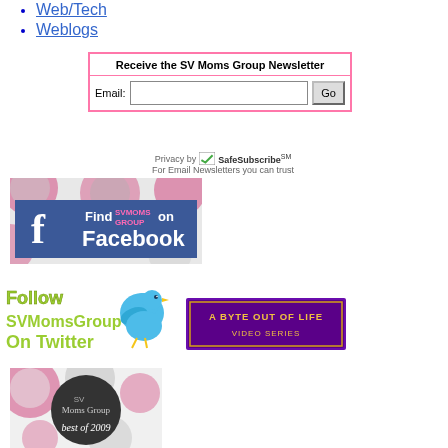Web/Tech
Weblogs
Receive the SV Moms Group Newsletter - Email: [input] Go
Privacy by SafeSubscribeSM For Email Newsletters you can trust
[Figure (illustration): Find SV Moms Group on Facebook banner with Facebook logo and colorful circles background]
[Figure (illustration): Follow SVMomsGroup On Twitter banner with blue cartoon bird]
[Figure (illustration): A Byte Out of Life Video Series banner with purple background and gold text]
[Figure (illustration): SV Moms Group Best of 2009 badge with dark circle and decorative circles background]